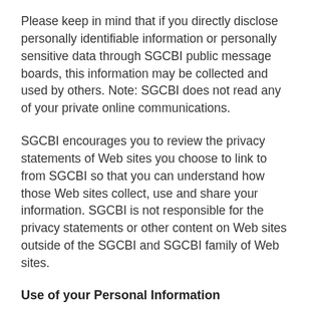Please keep in mind that if you directly disclose personally identifiable information or personally sensitive data through SGCBI public message boards, this information may be collected and used by others. Note: SGCBI does not read any of your private online communications.
SGCBI encourages you to review the privacy statements of Web sites you choose to link to from SGCBI so that you can understand how those Web sites collect, use and share your information. SGCBI is not responsible for the privacy statements or other content on Web sites outside of the SGCBI and SGCBI family of Web sites.
Use of your Personal Information
SGCBI collects and uses your personal information to operate the SGCBI Web site and deliver the